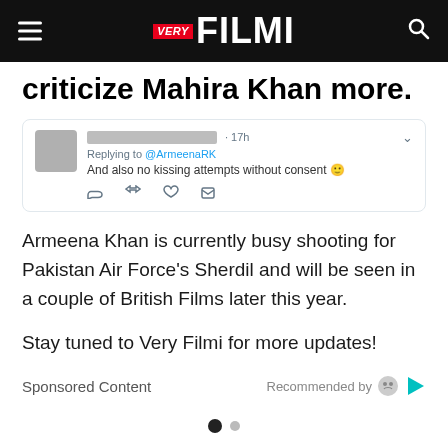VERY FILMI
criticize Mahira Khan more.
[Figure (screenshot): Tweet screenshot: Replying to @ArmeenaRK — And also no kissing attempts without consent 🙂]
Armeena Khan is currently busy shooting for Pakistan Air Force's Sherdil and will be seen in a couple of British Films later this year.
Stay tuned to Very Filmi for more updates!
Sponsored Content
Recommended by